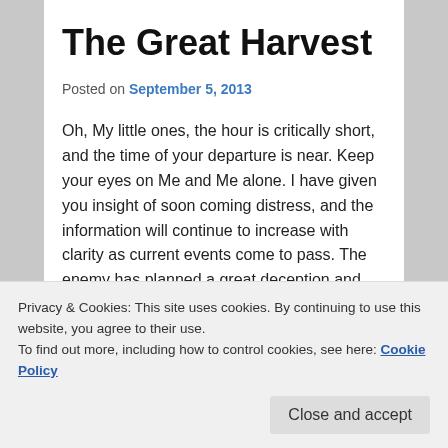The Great Harvest
Posted on September 5, 2013
Oh, My little ones, the hour is critically short, and the time of your departure is near. Keep your eyes on Me and Me alone. I have given you insight of soon coming distress, and the information will continue to increase with clarity as current events come to pass. The enemy has planned a great deception and destruction that will envelop the entire globe. Even now the angels have been sent to reap the Earth. Currently the sheep are being separated from
Privacy & Cookies: This site uses cookies. By continuing to use this website, you agree to their use.
To find out more, including how to control cookies, see here: Cookie Policy
plans go awry and he destroys his own. You will find great